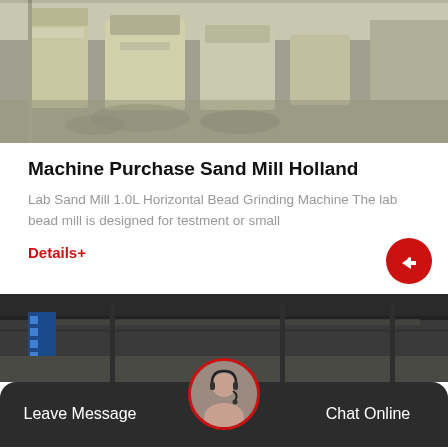[Figure (photo): Industrial machinery (sand mill / bead grinding machines) in a factory floor, shot from a low angle showing cream/yellow colored equipment on a concrete floor]
Machine Purchase Sand Mill Holland
Lab Sand Mill 1.0L Horizontal Bead Grinding Machine The lab bead mill is designed for testment or small
Details+
[Figure (photo): Factory/warehouse interior with dark ceiling and blue signage, partially visible]
Leave Message
Chat Online